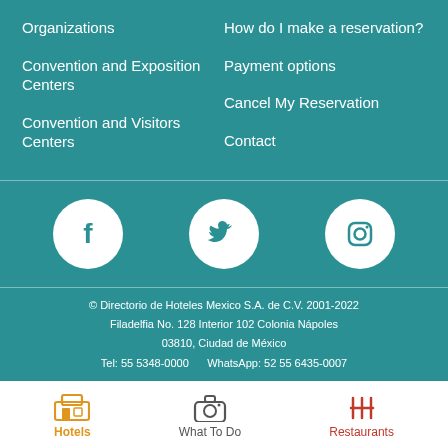Organizations
Convention and Exposition Centers
Convention and Visitors Centers
How do I make a reservation?
Payment options
Cancel My Reservation
Contact
[Figure (logo): Facebook icon - white f on teal circle]
[Figure (logo): Twitter icon - white bird on teal circle]
[Figure (logo): Instagram icon - white camera outline on teal circle]
© Directorio de Hoteles Mexico S.A. de C.V. 2001-2022
Filadelfia No. 128 Interior 102 Colonia Nápoles
03810, Ciudad de México
Tel: 55 5348-0000   WhatsApp: 52 55 6435-0007
Hotels
What To Do
Restaurants